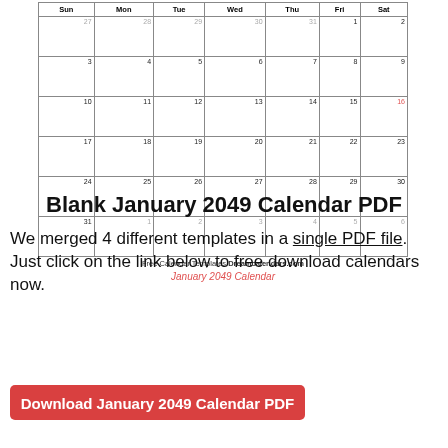[Figure (other): January 2049 monthly calendar grid showing days Sun through Sat, with dates from 27 Dec to 6 Feb, and footer text 'Free Calendar Templates Dreamcalendars.com' and subtitle 'January 2049 Calendar' in red italic]
Blank January 2049 Calendar PDF
We merged 4 different templates in a single PDF file. Just click on the link below to free download calendars now.
Download January 2049 Calendar PDF